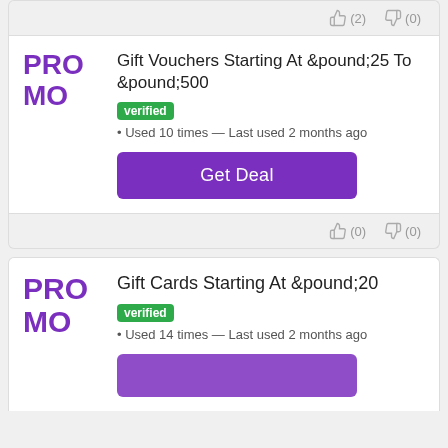👍(2) 👎(0)
[Figure (infographic): Promo card for Gift Vouchers Starting At £25 To £500 with verified badge, used 10 times, last used 2 months ago, Get Deal button]
👍(0) 👎(0)
[Figure (infographic): Promo card for Gift Cards Starting At £20 with verified badge, used 14 times, last used 2 months ago]